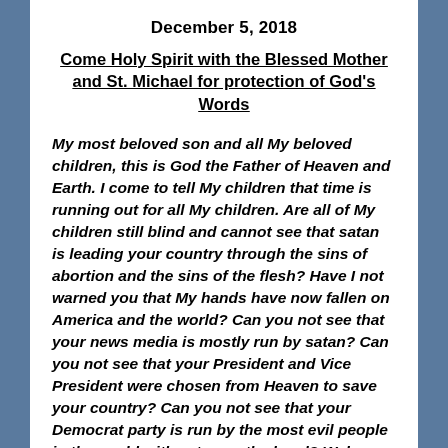December 5, 2018
Come Holy Spirit with the Blessed Mother and St. Michael for protection of God's Words
My most beloved son and all My beloved children, this is God the Father of Heaven and Earth. I come to tell My children that time is running out for all My children. Are all of My children still blind and cannot see that satan is leading your country through the sins of abortion and the sins of the flesh? Have I not warned you that My hands have now fallen on America and the world? Can you not see that your news media is mostly run by satan? Can you not see that your President and Vice President were chosen from Heaven to save your country? Can you not see that your Democrat party is run by the most evil people in the world with satan as the head? Wake up because the evil people are about to fall. I will not let